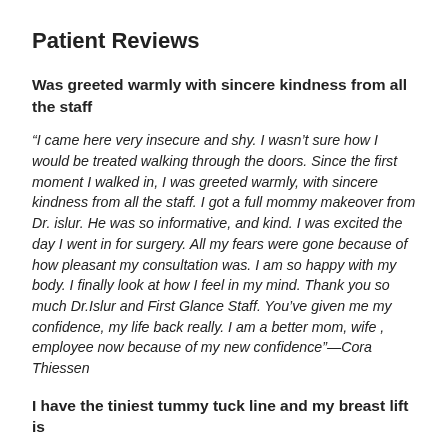Patient Reviews
Was greeted warmly with sincere kindness from all the staff
“I came here very insecure and shy. I wasn’t sure how I would be treated walking through the doors. Since the first moment I walked in, I was greeted warmly, with sincere kindness from all the staff. I got a full mommy makeover from Dr. islur. He was so informative, and kind. I was excited the day I went in for surgery. All my fears were gone because of how pleasant my consultation was. I am so happy with my body. I finally look at how I feel in my mind. Thank you so much Dr.Islur and First Glance Staff. You’ve given me my confidence, my life back really. I am a better mom, wife , employee now because of my new confidence”—Cora Thiessen
I have the tiniest tummy tuck line and my breast lift is